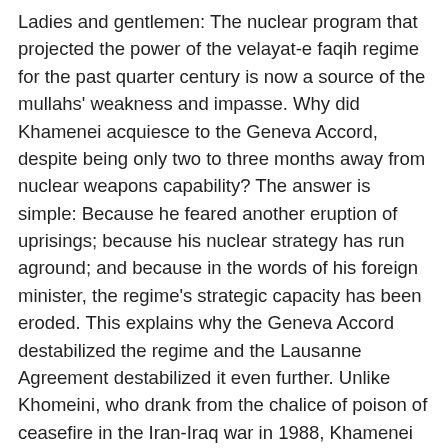Ladies and gentlemen: The nuclear program that projected the power of the velayat-e faqih regime for the past quarter century is now a source of the mullahs' weakness and impasse. Why did Khamenei acquiesce to the Geneva Accord, despite being only two to three months away from nuclear weapons capability? The answer is simple: Because he feared another eruption of uprisings; because his nuclear strategy has run aground; and because in the words of his foreign minister, the regime's strategic capacity has been eroded. This explains why the Geneva Accord destabilized the regime and the Lausanne Agreement destabilized it even further. Unlike Khomeini, who drank from the chalice of poison of ceasefire in the Iran-Iraq war in 1988, Khamenei could not agree to a comprehensive deal with the P5+1. He says, "I neither agree nor disagree." This means that his regime is at an impasse. The same situation prevails as pertains to the final, comprehensive agreement. Whether or not Khamenei agrees to it, the regime cannot escape the prospects of being overthrown. WRAPPING UP THE BOMB-MAKING STRUCTURE